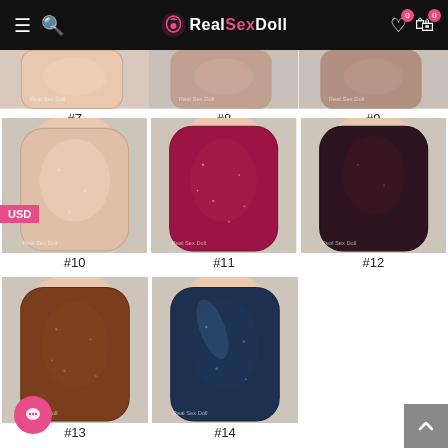RealSexDoll — website header with logo, search, wishlist, cart
[Figure (photo): Nail color option #7 — partial view, natural/nude color nail on fabric background]
#7
[Figure (photo): Nail color option #8 — partial view, nail on fabric background]
#8
[Figure (photo): Nail color option #9 — partial view, nail on fabric background]
#9
[Figure (photo): Nail color option #10 — natural/nude/beige shimmer nail on fabric background]
#10
[Figure (photo): Nail color option #11 — deep raspberry/magenta glitter nail on fabric background]
#11
[Figure (photo): Nail color option #12 — very dark burgundy/almost-black nail on fabric background]
#12
[Figure (photo): Nail color option #13 — warm brown/copper shimmer nail on fabric background]
#13
[Figure (photo): Nail color option #14 — navy/dark teal glitter nail on fabric background]
#14